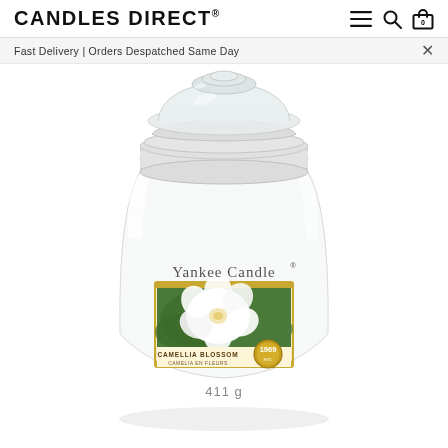CANDLES DIRECT®
Fast Delivery | Orders Despatched Same Day
[Figure (photo): Yankee Candle medium jar candle in Camellia Blossom scent. Clear glass jar with glass lid, white wax, label showing a white camellia flower with green leaves. Text on label: YANKEE CANDLE, CAMELLIA BLOSSOM, CAMELIA EN FLEURS, 1969. Weight label: 411 g.]